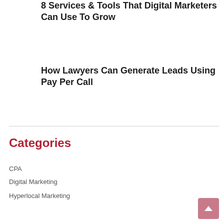8 Services & Tools That Digital Marketers Can Use To Grow
How Lawyers Can Generate Leads Using Pay Per Call
Categories
CPA
Digital Marketing
Hyperlocal Marketing